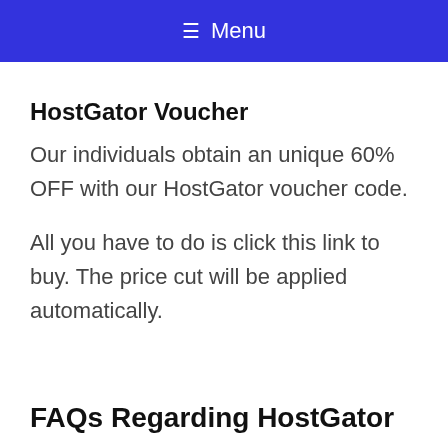≡ Menu
HostGator Voucher
Our individuals obtain an unique 60% OFF with our HostGator voucher code.
All you have to do is click this link to buy. The price cut will be applied automatically.
FAQs Regarding HostGator